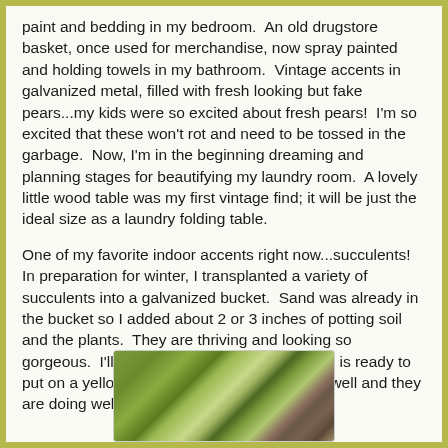paint and bedding in my bedroom.  An old drugstore basket, once used for merchandise, now spray painted and holding towels in my bathroom.  Vintage accents in galvanized metal, filled with fresh looking but fake pears...my kids were so excited about fresh pears!  I'm so excited that these won't rot and need to be tossed in the garbage.  Now, I'm in the beginning dreaming and planning stages for beautifying my laundry room.  A lovely little wood table was my first vintage find; it will be just the ideal size as a laundry folding table.
One of my favorite indoor accents right now...succulents!  In preparation for winter, I transplanted a variety of succulents into a galvanized bucket.  Sand was already in the bucket so I added about 2 or 3 inches of potting soil and the plants.  They are thriving and looking so gorgeous.  I'll add some photos of them.  One is ready to put on a yellow flower.  My herbs came in as well and they are doing well.
[Figure (photo): Close-up photo of succulents in a galvanized bucket, showing green and pinkish-green succulent plants.]